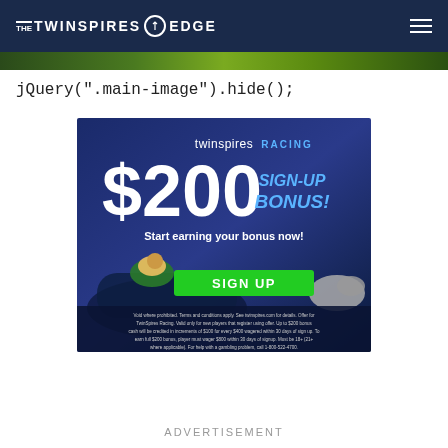THE TWINSPIRES EDGE
jQuery(".main-image").hide();
[Figure (illustration): TwinSpires Racing advertisement banner featuring a $200 sign-up bonus promotion. Dark blue background with horse racing imagery showing a jockey on horseback. Text reads 'twinspires RACING', '$200 SIGN-UP BONUS!', 'Start earning your bonus now!', green SIGN UP button, and fine print disclaimer at bottom.]
ADVERTISEMENT